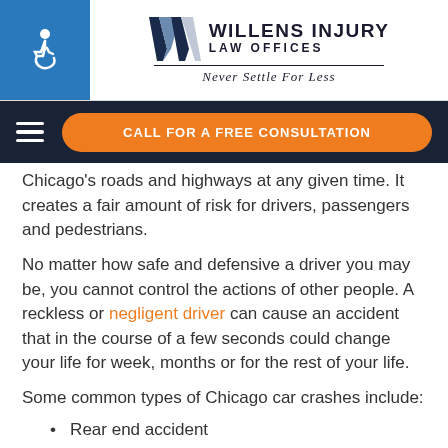[Figure (logo): Willens Injury Law Offices logo with wheelchair accessibility icon, stylized W, firm name, and tagline 'Never Settle For Less']
[Figure (screenshot): Navigation bar with hamburger menu icon and orange 'CALL FOR A FREE CONSULTATION' button on dark navy background]
Chicago's roads and highways at any given time. It creates a fair amount of risk for drivers, passengers and pedestrians.
No matter how safe and defensive a driver you may be, you cannot control the actions of other people. A reckless or negligent driver can cause an accident that in the course of a few seconds could change your life for week, months or for the rest of your life.
Some common types of Chicago car crashes include:
Rear end accident
Takeaway accident